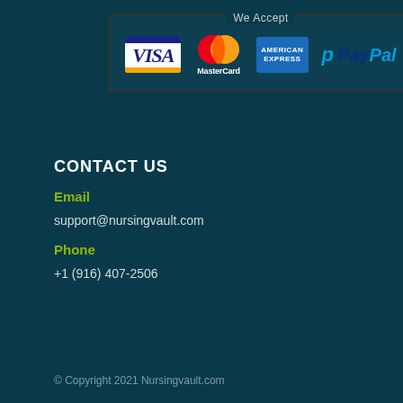[Figure (infographic): We Accept payment logos box showing VISA, MasterCard, American Express, and PayPal]
CONTACT US
Email
support@nursingvault.com
Phone
+1 (916) 407-2506
© Copyright 2021 Nursingvault.com